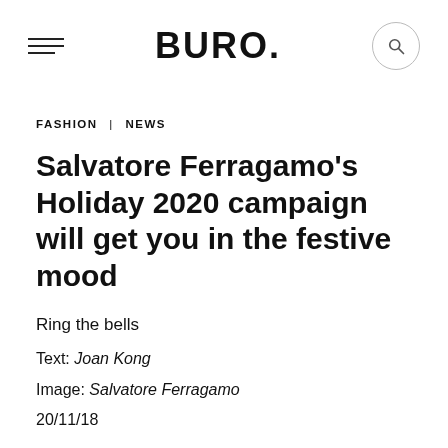BURO.
FASHION | NEWS
Salvatore Ferragamo's Holiday 2020 campaign will get you in the festive mood
Ring the bells
Text: Joan Kong
Image: Salvatore Ferragamo
20/11/18